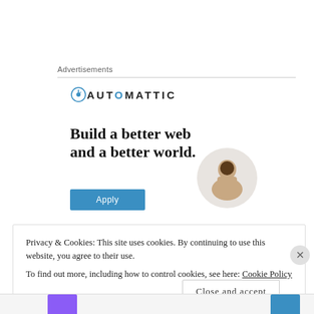Advertisements
[Figure (advertisement): Automattic advertisement: logo with compass icon, headline 'Build a better web and a better world.', blue Apply button, and circular photo of a person thinking.]
Privacy & Cookies: This site uses cookies. By continuing to use this website, you agree to their use. To find out more, including how to control cookies, see here: Cookie Policy
Close and accept